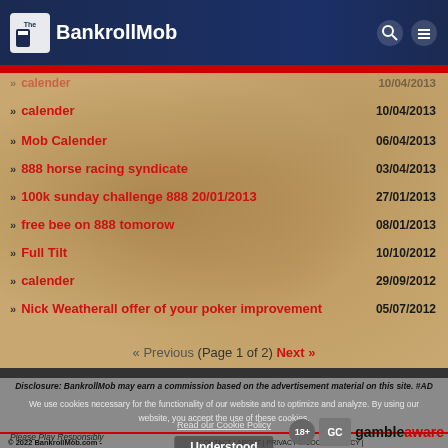The BankrollMob
calender — 10/04/2013
Mob Calender — 06/04/2013
888 horse racing syndicate — 03/04/2013
100k sunday challenge 888 20/01/2013 — 27/01/2013
free bee on 888 tomorow — 08/01/2013
Full Tilt — 10/10/2012
calender — 29/09/2012
Nick Weatherall offer of your poker improvement — 05/07/2012
« Previous  (Page 1 of 2)  Next »
Disclosure: BankrollMob may earn a commission based on the advertisement material on this site. #AD
We use cookies necessary for the functionality of our website and to optimize and analyze. By using our website, you accept the use of these cookies.
Read our Cookie Policy
Understood
© 2022 BankrollMob.com - All Rights Reserved
CONTACT | ABOUT | PRIVACY & COOKIE POLICY | TERMS & CONDITIONS | NEWSLETTER | AFFILIATES | REPORT SPAM | ADVERTISING
Please Play Responsibly
gambleaware